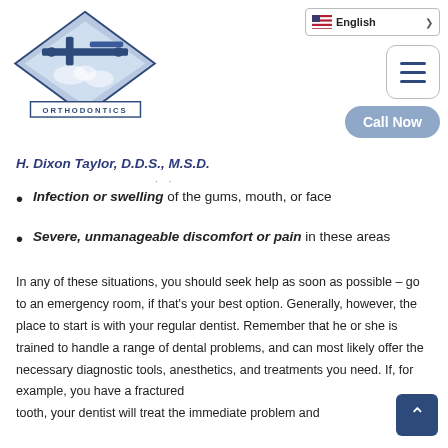[Figure (logo): H. Dixon Taylor Orthodontics logo — diamond shape with dental equipment illustration, text ORTHODONTICS below]
English (language selector with US flag and dropdown chevron)
Call Now (button)
H. Dixon Taylor, D.D.S., M.S.D.
Infection or swelling of the gums, mouth, or face
Severe, unmanageable discomfort or pain in these areas
In any of these situations, you should seek help as soon as possible – go to an emergency room, if that's your best option. Generally, however, the place to start is with your regular dentist. Remember that he or she is trained to handle a range of dental problems, and can most likely offer the necessary diagnostic tools, anesthetics, and treatments you need. If, for example, you have a fractured tooth, your dentist will treat the immediate problem and